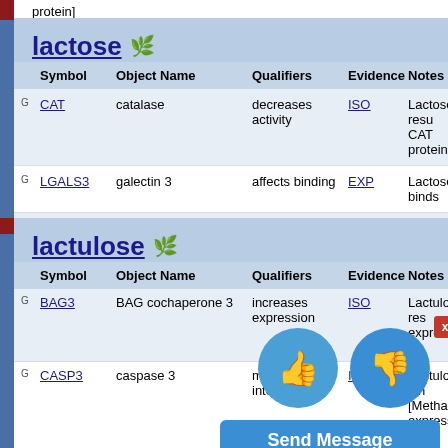protein]
lactose
| Symbol | Object Name | Qualifiers | Evidence | Notes |
| --- | --- | --- | --- | --- |
| CAT | catalase | decreases activity | ISO | Lactose resu CAT protein |
| LGALS3 | galectin 3 | affects binding | EXP | Lactose binds |
| SOD1 | superoxide dismutase 1 | decreases activity | ISO | Lactose resu SOD1 protein |
lactulose
| Symbol | Object Name | Qualifiers | Evidence | Notes |
| --- | --- | --- | --- | --- |
| BAG3 | BAG cochaperone 3 | increases expression | ISO | Lactulose res expression o |
| CASP3 | caspase 3 | multiple interactions | ISO | Lactulose inh [Methamphet expression o form] |
| HMOX1 | heme oxygenase 1 | increases expression | ISO | Lactulose res expression o |
| HSPB8 | heat shock protein family B (small) member 8 | increases expression | ISO | Lactulose res expression o |
| IL1B | interleukin 1 beta | multiple interactions | ISO | Lactulose inh [Methamphet expression o |